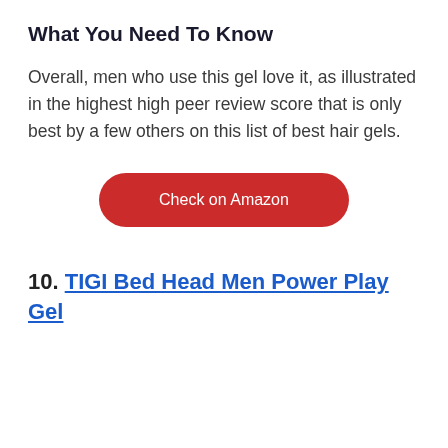What You Need To Know
Overall, men who use this gel love it, as illustrated in the highest high peer review score that is only best by a few others on this list of best hair gels.
[Figure (other): Red rounded button labeled 'Check on Amazon']
10. TIGI Bed Head Men Power Play Gel